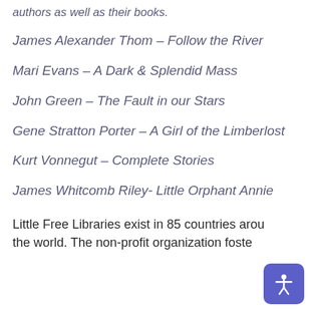authors as well as their books.
James Alexander Thom – Follow the River
Mari Evans – A Dark & Splendid Mass
John Green – The Fault in our Stars
Gene Stratton Porter – A Girl of the Limberlost
Kurt Vonnegut – Complete Stories
James Whitcomb Riley- Little Orphant Annie
Little Free Libraries exist in 85 countries around the world. The non-profit organization fostered